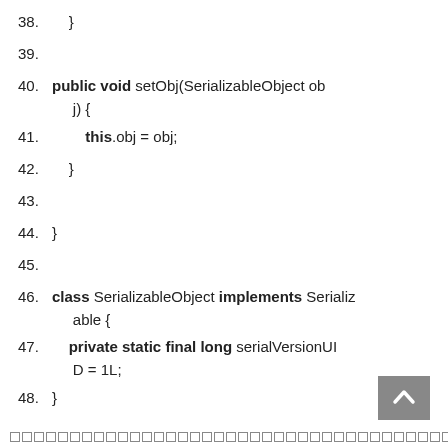38.    }
39.
40.    public void setObj(SerializableObject obj) {
41.        this.obj = obj;
42.    }
43.
44. }
45.
46. class SerializableObject implements Serializable {
47.    private static final long serialVersionUID = 1L;
48. }
□□□□□□□□□□□□□□□□□□□□□□□□□□□□□□□□□□□□□□□□□□□